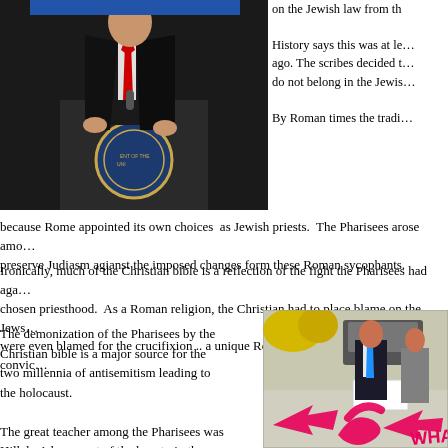[Figure (photo): Man in dark suit with red tie standing at a podium with a presidential seal]
on the Jewish law from th…

History says this was at le… ago. The scribes decided t… do not belong in the Jewis…

By Roman times the tradi…
because Rome appointed its own choices  as Jewish priests.  The Pharisees arose amo… preserve Judiasm agianst the imposed changes form these Roman sycophants.
Ironically, much of the Christian bible is a reflection of the fight the Pharisees had aga… chosen priesthood.  As a Roman religion, the Christian had to place blame on the Jews… were even blamed for the crucifixion .. a unique Roman punishment for people convic…
The demonization of the Pharisees by the Christian bible is a major source for the two millennia of antisemitism leading to the holocaust.
The great teacher among the Pharisees was Hillel.  A large part of the beauty in the Gospels, comes from Hillel's teachings.  Jesus, whatever else Christians believe him to be, taught the lessons of the Pharisees to preserve Judaism even under
[Figure (photo): Two people standing outdoors near a vehicle with pink/red arrow graphics overlay and text 'WHA…']